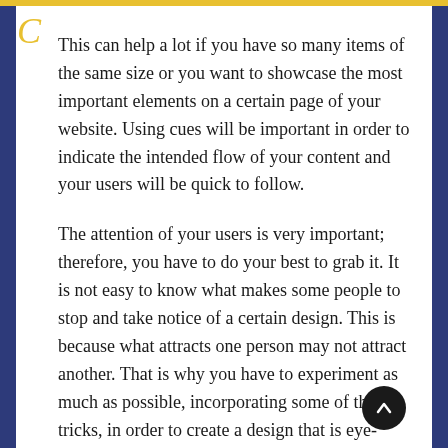This can help a lot if you have so many items of the same size or you want to showcase the most important elements on a certain page of your website. Using cues will be important in order to indicate the intended flow of your content and your users will be quick to follow.
The attention of your users is very important; therefore, you have to do your best to grab it. It is not easy to know what makes some people to stop and take notice of a certain design. This is because what attracts one person may not attract another. That is why you have to experiment as much as possible, incorporating some of these tricks, in order to create a design that is eye-catching.